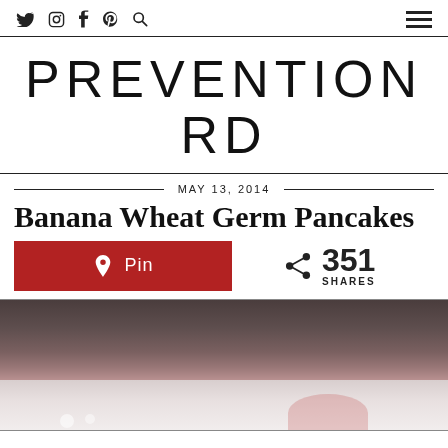Twitter Instagram Facebook Pinterest Search | Menu
PREVENTION RD
MAY 13, 2014
Banana Wheat Germ Pancakes
Pin  |  351 SHARES
[Figure (photo): Photo of banana wheat germ pancakes on a plate, partially visible at bottom of page]